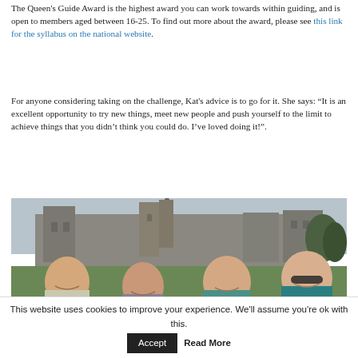The Queen's Guide Award is the highest award you can work towards within guiding, and is open to members aged between 16-25. To find out more about the award, please see this link for the syllabus on the national website.
For anyone considering taking on the challenge, Kat's advice is to go for it. She says: “It is an excellent opportunity to try new things, meet new people and push yourself to the limit to achieve things that you didn’t think you could do. I’ve loved doing it!”.
[Figure (photo): Four young women smiling in front of a large Gothic castle with towers and spires, surrounded by green lawns and trees under an overcast sky.]
This website uses cookies to improve your experience. We'll assume you're ok with this. Accept Read More